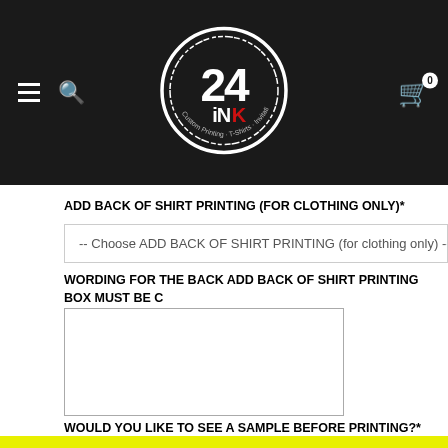[Figure (logo): 24 INK logo — circle with '24' and 'iNK' text, white on dark background. Navigation header with hamburger menu, search icon, and cart icon.]
ADD BACK OF SHIRT PRINTING (FOR CLOTHING ONLY)*
-- Choose ADD BACK OF SHIRT PRINTING (for clothing only) --
WORDING FOR THE BACK ADD BACK OF SHIRT PRINTING BOX MUST BE C ABOVE
WOULD YOU LIKE TO SEE A SAMPLE BEFORE PRINTING?*
-- Choose WOULD YOU LIKE TO SEE A SAMPLE BEFORE PRINT